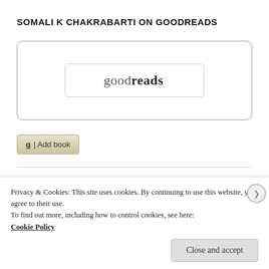SOMALI K CHAKRABARTI ON GOODREADS
[Figure (logo): Goodreads widget box containing the Goodreads logo text inside a rounded rectangle border]
g | Add book
[Figure (other): Creative Commons license icons (four circular icons)]
Privacy & Cookies: This site uses cookies. By continuing to use this website, you agree to their use.
To find out more, including how to control cookies, see here:
Cookie Policy
Close and accept